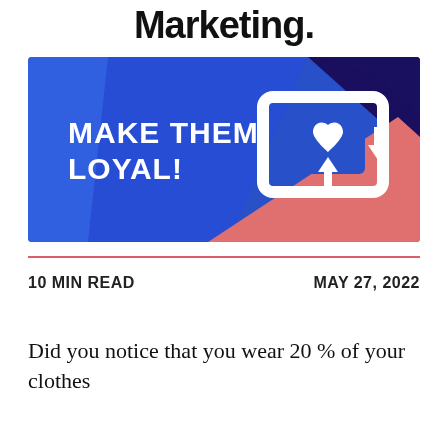Marketing.
[Figure (illustration): Colorful marketing banner with blue, purple, and coral/orange geometric shapes. Text reads 'MAKE THEM LOYAL!' in bold white letters on the left. On the right, a white icon showing a share/repost symbol with a heart inside and an upload arrow.]
10 MIN READ
MAY 27, 2022
Did you notice that you wear 20 % of your clothes